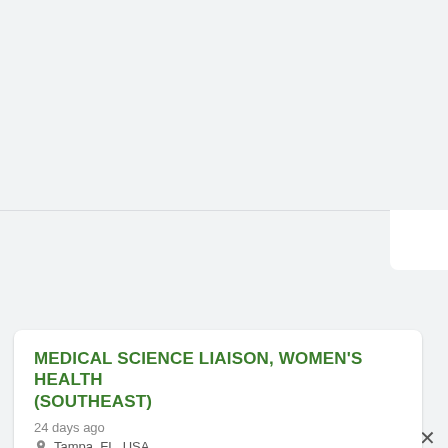[Figure (screenshot): Top gray background area of a mobile/web UI showing a partial modal or panel, with a close (X) button in the upper right and a horizontal divider line.]
MEDICAL SCIENCE LIAISON, WOMEN'S HEALTH (SOUTHEAST)
24 days ago
Tampa, FL, USA
Experience working in the Pharmaceutical/Biotech, or Medical